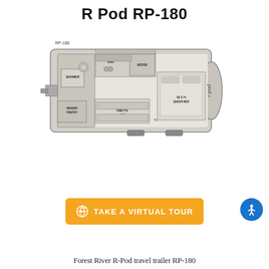R Pod RP-180
[Figure (schematic): Floor plan schematic of Forest River R-Pod RP-180 travel trailer showing overhead layout with labeled rooms: SHOWER, WARDR/PANTRY, OHD (overhead), REFER (refrigerator), 24 X 75 DINETTE OHD, TV, 60 X 74 QUEEN BED, r pod logo on side]
[Figure (other): Orange button with 360-degree icon and text TAKE A VIRTUAL TOUR]
Forest River R-Pod travel trailer RP-180